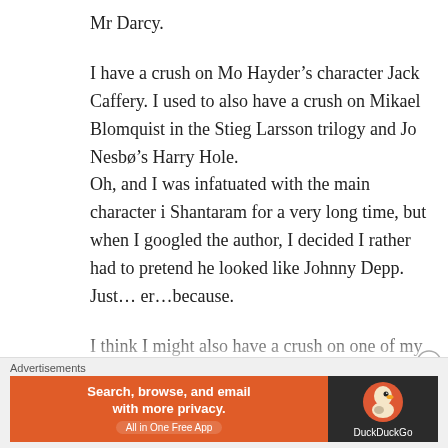Mr Darcy.
I have a crush on Mo Hayder’s character Jack Caffery. I used to also have a crush on Mikael Blomquist in the Stieg Larsson trilogy and Jo Nesbø’s Harry Hole.
Oh, and I was infatuated with the main character i Shantaram for a very long time, but when I googled the author, I decided I rather had to pretend he looked like Johnny Depp. Just…er…because.
I think I might also have a crush on one of my own main characters, even if he only exists in a
Advertisements
[Figure (screenshot): DuckDuckGo advertisement banner: orange left section with text 'Search, browse, and email with more privacy. All in One Free App', dark right section with DuckDuckGo duck logo and brand name.]